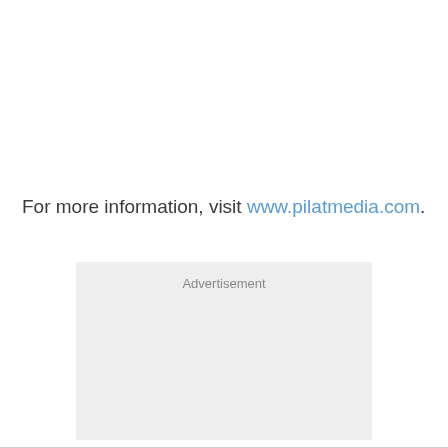For more information, visit www.pilatmedia.com.
[Figure (other): Advertisement placeholder box with light gray background and 'Advertisement' label text]